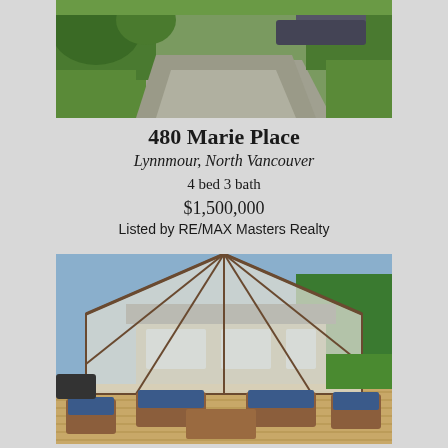[Figure (photo): Exterior photo of a driveway with lush green trees and vegetation, partial view of a vehicle]
480 Marie Place
Lynnmour, North Vancouver
4 bed 3 bath
$1,500,000
Listed by RE/MAX Masters Realty
[Figure (photo): Outdoor deck/patio with teak furniture and blue cushions under a large gazebo canopy, with house and green trees in the background]